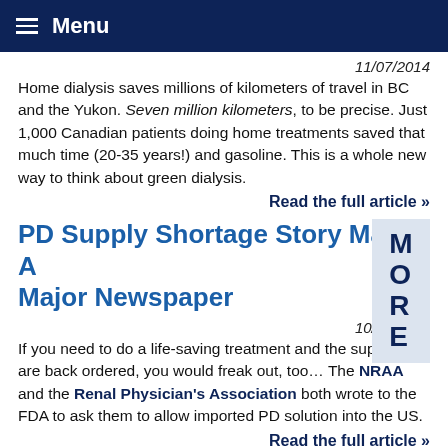Menu
11/07/2014
Home dialysis saves millions of kilometers of travel in BC and the Yukon. Seven million kilometers, to be precise. Just 1,000 Canadian patients doing home treatments saved that much time (20-35 years!) and gasoline. This is a whole new way to think about green dialysis.
Read the full article »
PD Supply Shortage Story Makes A Major Newspaper
10/07/2014
If you need to do a life-saving treatment and the supplies are back ordered, you would freak out, too… The NRAA and the Renal Physician's Association both wrote to the FDA to ask them to allow imported PD solution into the US.
Read the full article »